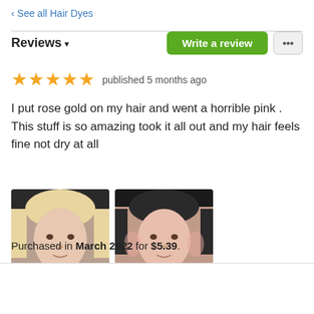‹ See all Hair Dyes
Reviews ▾
★★★★★ published 5 months ago
I put rose gold on my hair and went a horrible pink . This stuff is so amazing took it all out and my hair feels fine not dry at all
[Figure (photo): Two thumbnail photos showing before/after of person's hair color removal]
Purchased in March 2022 for $5.39.
Value for Money
[Figure (other): 4 green filled circles representing value-for-money rating dots]